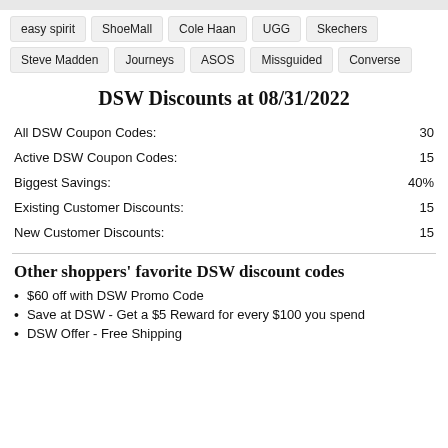easy spirit | ShoeMall | Cole Haan | UGG | Skechers
Steve Madden | Journeys | ASOS | Missguided | Converse
DSW Discounts at 08/31/2022
|  |  |
| --- | --- |
| All DSW Coupon Codes: | 30 |
| Active DSW Coupon Codes: | 15 |
| Biggest Savings: | 40% |
| Existing Customer Discounts: | 15 |
| New Customer Discounts: | 15 |
Other shoppers' favorite DSW discount codes
$60 off with DSW Promo Code
Save at DSW - Get a $5 Reward for every $100 you spend
DSW Offer - Free Shipping